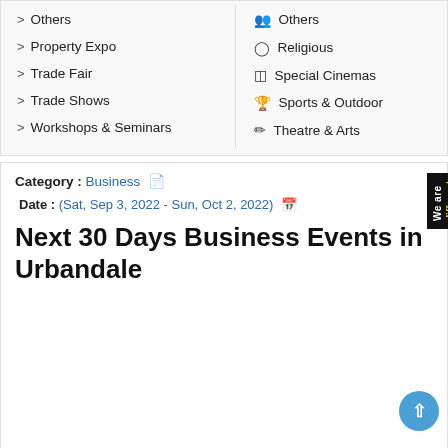> Others
> Property Expo
> Trade Fair
> Trade Shows
> Workshops & Seminars
Others
Religious
Special Cinemas
Sports & Outdoor
Theatre & Arts
Category : Business
Date : (Sat, Sep 3, 2022 - Sun, Oct 2, 2022)
Next 30 Days Business Events in Urbandale